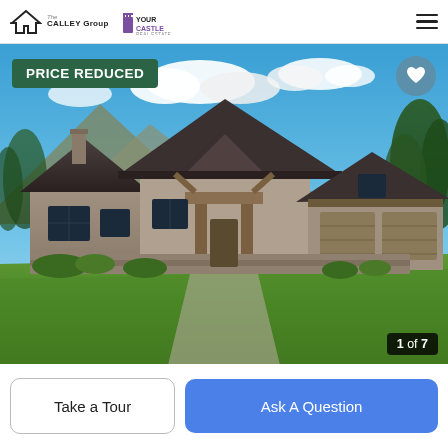The Calley Group | Your Castle Real Estate — navigation header
[Figure (photo): Exterior rendering of a large mountain-style craftsman home with wood siding, stone accents, timber beam entry, multiple gabled roofs, two-car garage, set against a mountain and blue sky backdrop with green lawn in foreground. Badge reads PRICE REDUCED. Image counter shows 1 of 7.]
Take a Tour
Ask A Question